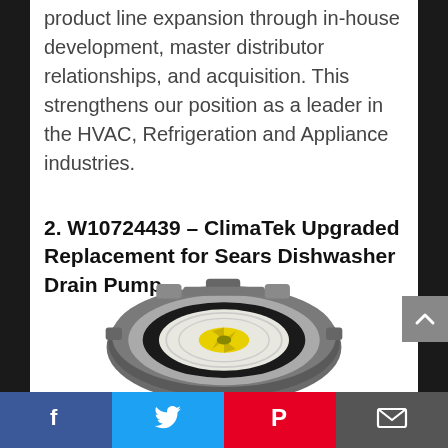product line expansion through in-house development, master distributor relationships, and acquisition. This strengthens our position as a leader in the HVAC, Refrigeration and Appliance industries.
2. W10724439 – ClimaTek Upgraded Replacement for Sears Dishwasher Drain Pump
[Figure (photo): Photo of a dishwasher drain pump — circular gray plastic housing with black rubber seal and yellow impeller visible inside]